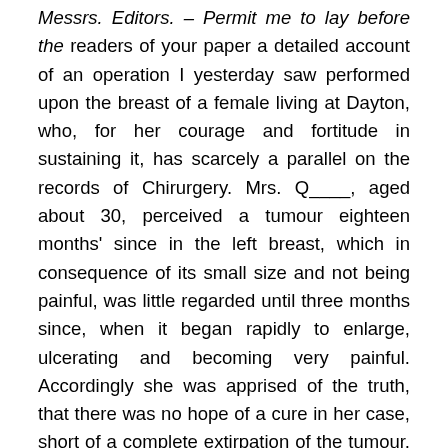Messrs. Editors. – Permit me to lay before the readers of your paper a detailed account of an operation I yesterday saw performed upon the breast of a female living at Dayton, who, for her courage and fortitude in sustaining it, has scarcely a parallel on the records of Chirurgery. Mrs. Q____, aged about 30, perceived a tumour eighteen months' since in the left breast, which in consequence of its small size and not being painful, was little regarded until three months since, when it began rapidly to enlarge, ulcerating and becoming very painful. Accordingly she was apprised of the truth, that there was no hope of a cure in her case, short of a complete extirpation of the tumour, to which operation she expressed her assent; and with an unflinching resolution she seemed to call forth all the energies of her body and mind, and bared her bosom to the formidable strokes of the Scalpel. The operation was performed by Dr...